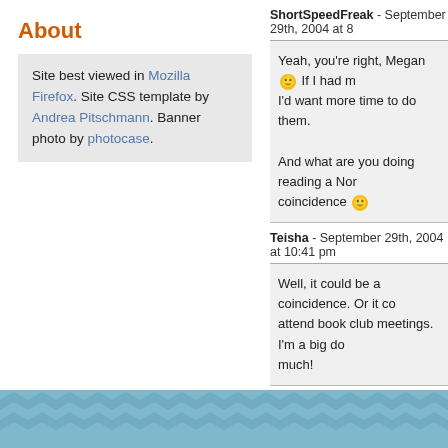About
Site best viewed in Mozilla Firefox. Site CSS template by Andrea Pitschmann. Banner photo by photocase.
ShortSpeedFreak - September 29th, 2004 at 8...
Yeah, you're right, Megan 🙂 If I had m... I'd want more time to do them.

And what are you doing reading a Nor... coincidence 🙂
Teisha - September 29th, 2004 at 10:41 pm
Well, it could be a coincidence. Or it co... attend book club meetings. I'm a big do... much!
ShortSpeedFreak - September 30th, 2004 at 9...
Leave a Response (or trackback on y...
You must be logged in to post a comm...